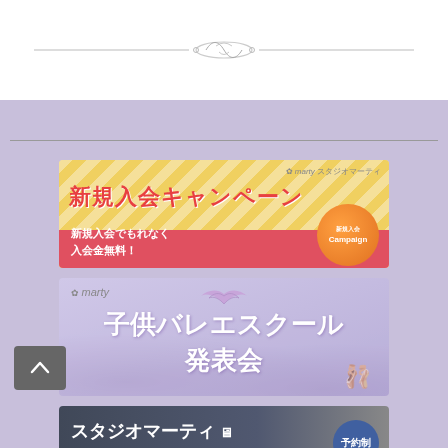[Figure (illustration): Decorative divider with ornamental scroll/flourish design on white background]
[Figure (illustration): Banner: 新規入会キャンペーン (New member campaign) - yellow striped background with red bar, text saying 新規入会でもれなく入会金無料！and orange campaign circle badge]
[Figure (illustration): Banner: 子供バレエスクール発表会 (Children's ballet school recital) - lavender gradient background with wing icon and floral motif]
[Figure (illustration): Banner: スタジオマーティ オンラインレッスン (Studio Marty online lessons) - dark blue-grey background with 予約制 badge, subtitle about ballet/dance/yoga/pilates online lessons]
[Figure (illustration): Partial banner: MARTY PRE BALLET - white background with swan silhouette and text]